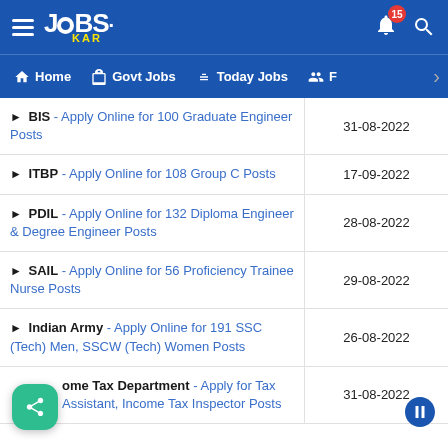JOBS KAR — Home | Govt Jobs | Today Jobs | F — Notifications: 15
| Job Listing | Last Date |
| --- | --- |
| ▶ BIS - Apply Online for 100 Graduate Engineer Posts | 31-08-2022 |
| ▶ ITBP - Apply Online for 108 Group C Posts | 17-09-2022 |
| ▶ PDIL - Apply Online for 132 Diploma Engineer & Degree Engineer Posts | 28-08-2022 |
| ▶ SAIL - Apply Online for 56 Proficiency Trainee Nurse Posts | 29-08-2022 |
| ▶ Indian Army - Apply Online for 191 SSC (Tech) Men, SSCW (Tech) Women Posts | 26-08-2022 |
| ▶ Income Tax Department - Apply for Tax Assistant, Income Tax Inspector Posts | 31-08-2022 |